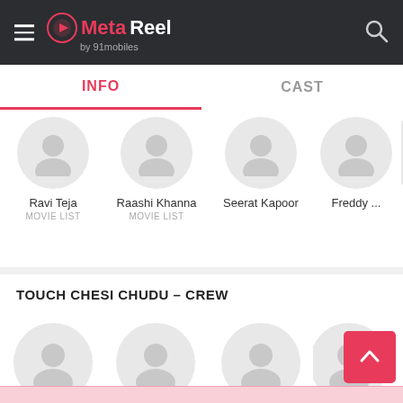MetaReel by 91mobiles
INFO | CAST
Ravi Teja - MOVIE LIST
Raashi Khanna - MOVIE LIST
Seerat Kapoor
Freddy ...
TOUCH CHESI CHUDU - CREW
Vikram ... - DIRECTING
Vakkantham ... - WRITING
Sreenivasa ... - WRITING
JAN... - SOU...